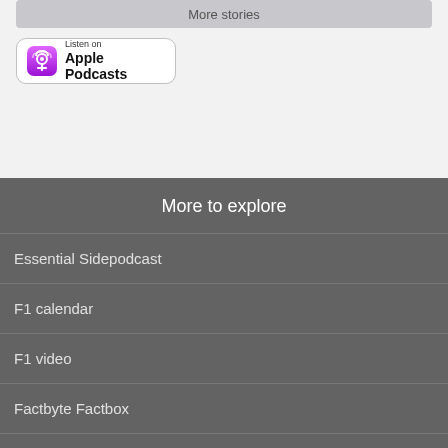More stories
[Figure (logo): Listen on Apple Podcasts button with purple podcast icon]
More to explore
Essential Sidepodcast
F1 calendar
F1 video
Factbyte Factbox
Transcribed audio and video
Small print